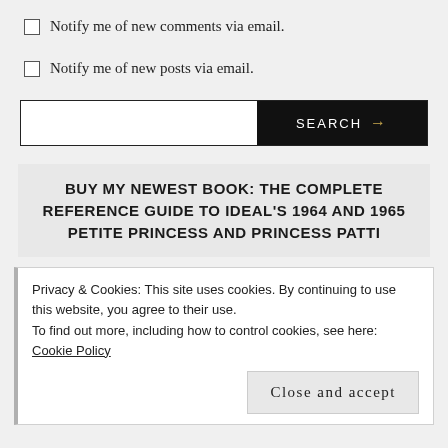Notify me of new comments via email.
Notify me of new posts via email.
SEARCH →
BUY MY NEWEST BOOK: THE COMPLETE REFERENCE GUIDE TO IDEAL'S 1964 AND 1965 PETITE PRINCESS AND PRINCESS PATTI
Privacy & Cookies: This site uses cookies. By continuing to use this website, you agree to their use.
To find out more, including how to control cookies, see here: Cookie Policy
Close and accept